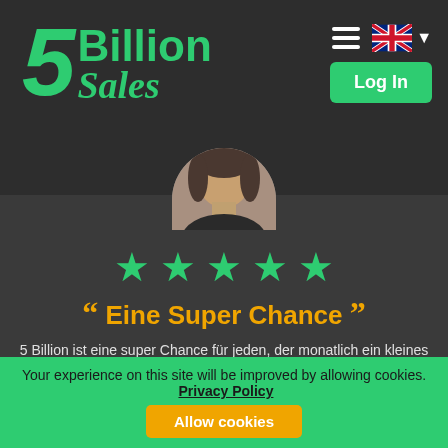[Figure (logo): 5 Billion Sales logo in green italic font]
[Figure (photo): Circular profile photo of a person, partially visible at top]
[Figure (other): Five green star rating symbols]
“ Eine Super Chance ”
5 Billion ist eine super Chance für jeden, der monatlich ein kleines Zubrot oder noch mehr verdienen möchte. Und das ohne einen finanziellen Einsatz! Ich selbst habe auch nicht daran geglaubt und war sehr skeptisch. Aber 5 B hält sein Wort. Ich erhielt meine Auszahlung von 160 Euro schnell und
Your experience on this site will be improved by allowing cookies.
Privacy Policy
Allow cookies